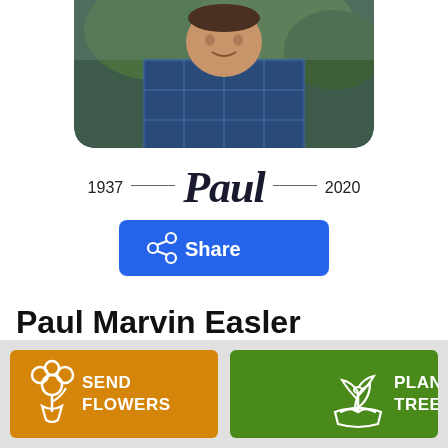[Figure (photo): Portrait photo of Paul Marvin Easler, a man in a blue plaid shirt, cropped at the top of the page with rounded bottom corners]
1937 — Paul — 2020
[Figure (screenshot): Blue Share button with share icon]
Paul Marvin Easler
May 7, 1937 — July 11, 2020
[Figure (infographic): Orange 'Send Flowers' button with flower bouquet icon and green 'Plant a Tree' button with seedling icon, in a gray bottom bar]